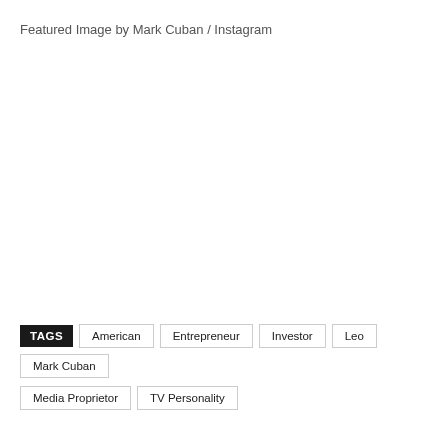Featured Image by Mark Cuban / Instagram
TAGS: American, Entrepreneur, Investor, Leo, Mark Cuban, Media Proprietor, TV Personality